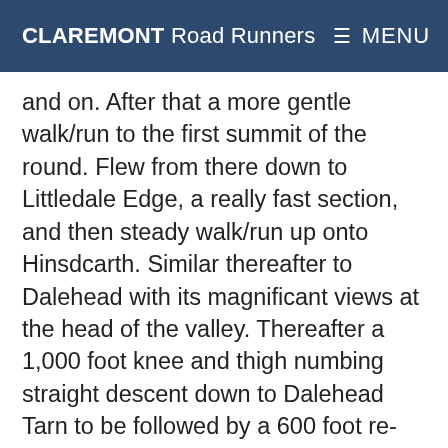CLAREMONT Road Runners  ≡ MENU
and on. After that a more gentle walk/run to the first summit of the round. Flew from there down to Littledale Edge, a really fast section, and then steady walk/run up onto Hinsdcarth. Similar thereafter to Dalehead with its magnificant views at the head of the valley. Thereafter a 1,000 foot knee and thigh numbing straight descent down to Dalehead Tarn to be followed by a 600 foot re-ascent to High Spy. The sun still shone so it was certainly toasty hot! Beyond High Spy the fastest consistent part the race. A long downhill over Maiden Moor down to the Hause Gate gap at the final ascent to Catbells. About a third way up Catbells (and only about 400 foot of ascent) a new sensation – cramp in both thighs which makes walking let alone running quite a challenge. After...